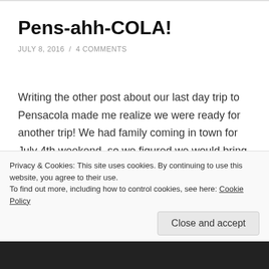Pens-ahh-COLA!
JULY 8, 2016 / 4 COMMENTS
Writing the other post about our last day trip to Pensacola made me realize we were ready for another trip! We had family coming in town for July 4th weekend, so we figured we would bring them along with us! Join us in our vlog as we visit the Historic Downtown Village, the Children's Museum, and another Jaco's Meal!
Privacy & Cookies: This site uses cookies. By continuing to use this website, you agree to their use.
To find out more, including how to control cookies, see here: Cookie Policy
Close and accept
[Figure (photo): Dark photo strip at the bottom of the page]